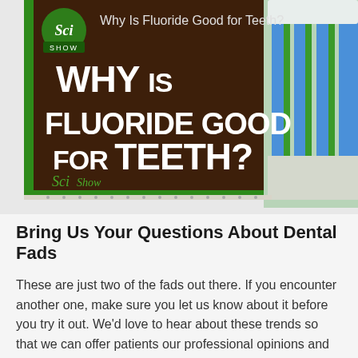[Figure (screenshot): YouTube video thumbnail from SciShow channel titled 'Why Is Fluoride Good for Teeth?' showing a toothbrush and toothpaste with bold white text on dark background and a red YouTube play button.]
Bring Us Your Questions About Dental Fads
These are just two of the fads out there. If you encounter another one, make sure you let us know about it before you try it out. We'd love to hear about these trends so that we can offer patients our professional opinions and advice. In the meantime, stick to tried and true dental